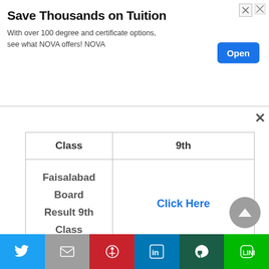[Figure (screenshot): Advertisement banner: 'Save Thousands on Tuition' with 'Open' button]
| Class | 9th |
| --- | --- |
| Faisalabad Board Result 9th Class | Click Here |
Procedure To check / Download Faisalabad Board Nine Class Result 2019 ?
[Figure (infographic): Social sharing bar with Twitter, Gmail, Pinterest, LinkedIn, WhatsApp, Line buttons]